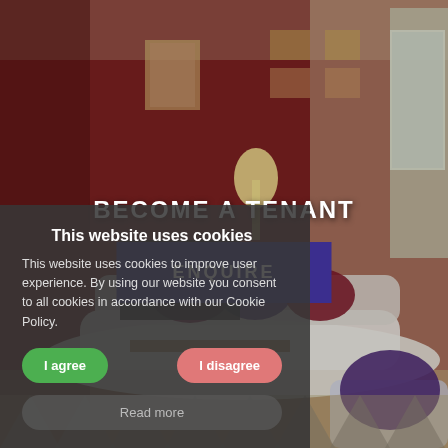[Figure (photo): Interior photo of a cozy living room with red/maroon walls, a white sofa with purple and red cushions, framed artwork on walls, wooden furniture, and a lamp. Background image behind text and cookie overlay.]
BECOME A TENANT
ENQUIRE
This website uses cookies
This website uses cookies to improve user experience. By using our website you consent to all cookies in accordance with our Cookie Policy.
I agree
I disagree
Read more